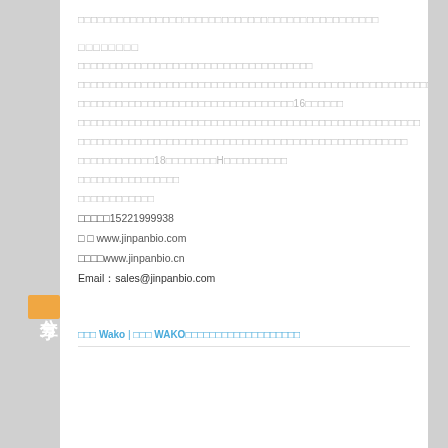□□□□□□□□□□□□□□□□□□□□□□□□□□□□□□□□□□□□□□□□□□□□□□
□□□□□□□□
□□□□□□□□□□□□□□□□□□□□□□□□□□□□□□□□□□□□□
□□□□□□□□□□□□□□□□□□□□□□□□□□□□□□□□□□□□□□□□□□□□□□□□□□□□□□□□□□□□□□□□□□□□□□□□□□□□
□□□□□□□□□□□□□□□□□□□□□□□□□□□□□□□□□□16□□□□□□
□□□□□□□□□□□□□□□□□□□□□□□□□□□□□□□□□□□□□□□□□□□□□□□□□□□□□□
□□□□□□□□□□□□□□□□□□□□□□□□□□□□□□□□□□□□□□□□□□□□□□□□□□□□
□□□□□□□□□□□□18□□□□□□□□H□□□□□□□□□□
□□□□□□□□□□□□□□□□
□□□□□□□□□□□□
□□□□□15221999938
□ □  www.jinpanbio.com
□□□□www.jinpanbio.cn
Email：sales@jinpanbio.com
□□□ Wako | □□□ WAKO□□□□□□□□□□□□□□□□□□□